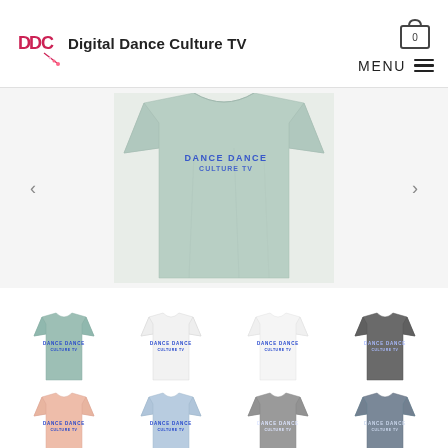Digital Dance Culture TV
[Figure (photo): Close-up of a light blue/mint t-shirt laid flat, showing blue text graphic on chest area]
[Figure (photo): Thumbnail grid of 8 t-shirts in various colors: mint/sage, white (2x), dark gray, peach/pink, light blue, medium gray, medium gray-blue]
[Figure (photo): Row 2 thumbnail t-shirts in peach, light blue, gray, and dark gray-blue colors]